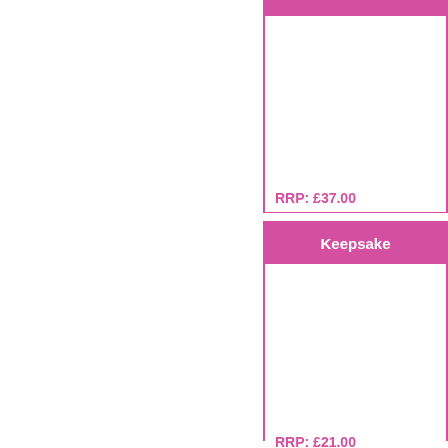RRP: £37.00
Keepsake
RRP: £21.00